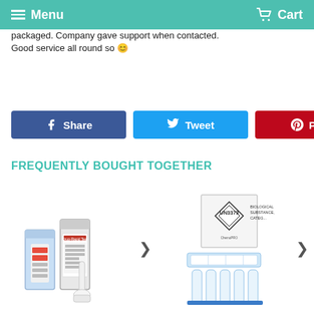Menu | Cart
packaged. Company gave support when contacted. Good service all round so 😊
[Figure (other): Three social sharing buttons: Share (Facebook, blue), Tweet (Twitter, light blue), Pin it (Pinterest, red)]
FREQUENTLY BOUGHT TOGETHER
[Figure (photo): Drug test kit with cups and swab tools]
[Figure (photo): Biological substance category B specimen collection kit with UN3373 labeling]